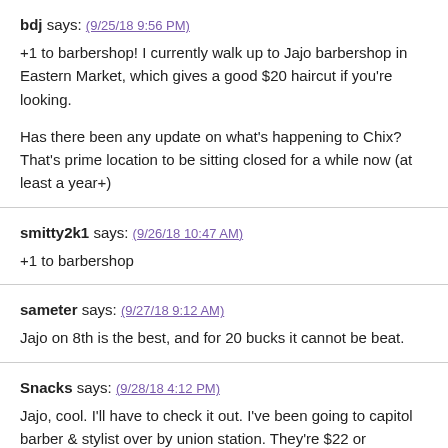bdj says: (9/25/18 9:56 PM)
+1 to barbershop! I currently walk up to Jajo barbershop in Eastern Market, which gives a good $20 haircut if you're looking.

Has there been any update on what's happening to Chix? That's prime location to be sitting closed for a while now (at least a year+)
smitty2k1 says: (9/26/18 10:47 AM)
+1 to barbershop
sameter says: (9/27/18 9:12 AM)
Jajo on 8th is the best, and for 20 bucks it cannot be beat.
Snacks says: (9/28/18 4:12 PM)
Jajo, cool. I'll have to check it out. I've been going to capitol barber & stylist over by union station. They're $22 or something. It doesn't